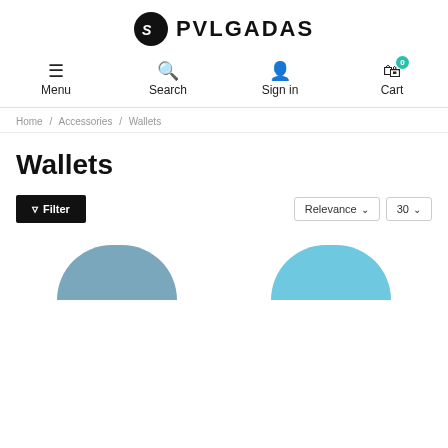PVLGADAS
Menu | Search | Sign in | Cart
Home / Accessories / Wallets
Wallets
Filter | Relevance | 30
[Figure (screenshot): Two product images partially visible at the bottom of the page showing wallets with blue-toned circular/oval shapes]